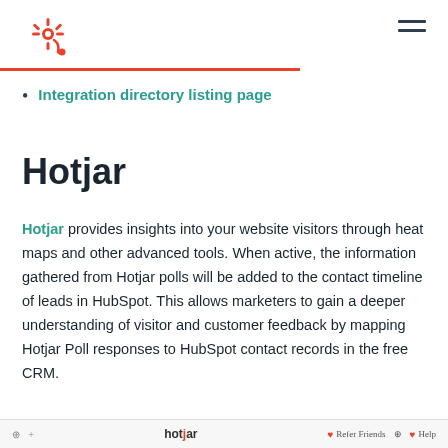HubSpot logo and navigation menu
Integration directory listing page
Hotjar
Hotjar provides insights into your website visitors through heat maps and other advanced tools. When active, the information gathered from Hotjar polls will be added to the contact timeline of leads in HubSpot. This allows marketers to gain a deeper understanding of visitor and customer feedback by mapping Hotjar Poll responses to HubSpot contact records in the free CRM.
hotjar   Refer Friends   Help